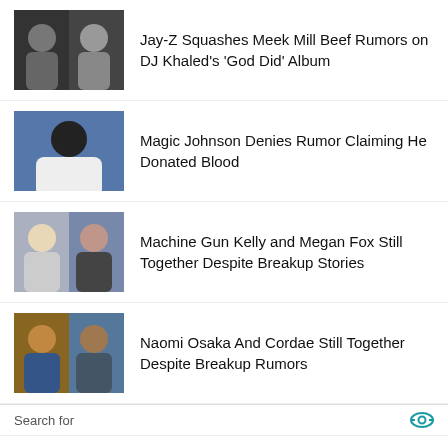Jay-Z Squashes Meek Mill Beef Rumors on DJ Khaled's 'God Did' Album
Magic Johnson Denies Rumor Claiming He Donated Blood
Machine Gun Kelly and Megan Fox Still Together Despite Breakup Stories
Naomi Osaka And Cordae Still Together Despite Breakup Rumors
Search for
01. Part Time Computer Jobs For
02. Most Nutritious Dogie Foods
Yahoo! Search | Sponsored